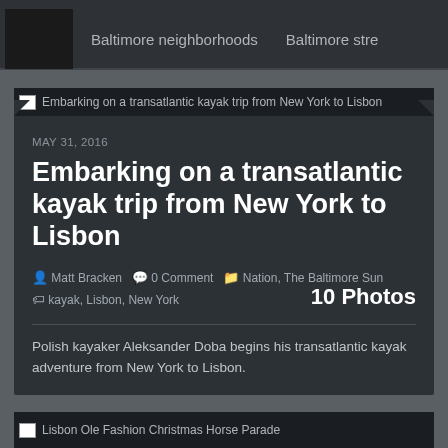Baltimore neighborhoods   Baltimore stre
[Figure (screenshot): Article card image placeholder for 'Embarking on a transatlantic kayak trip from New York to Lisbon']
MAY 31, 2016
Embarking on a transatlantic kayak trip from New York to Lisbon
Matt Bracken   0 Comment   Nation, The Baltimore Sun   kayak, Lisbon, New York   10 Photos
Polish kayaker Aleksander Doba begins his transatlantic kayak adventure from New York to Lisbon.
[Figure (screenshot): Article teaser image placeholder for 'Lisbon Ole Fashion Christmas Horse Parade']
Lisbon Ole Fashion Christmas Horse Parade